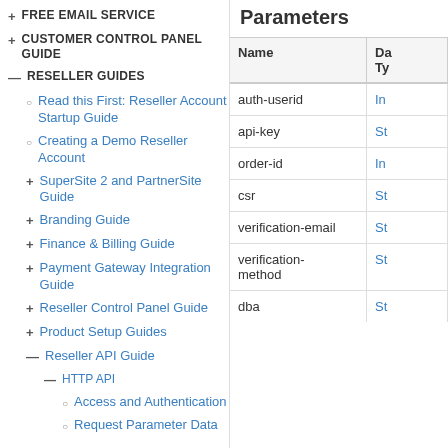+ FREE EMAIL SERVICE
+ CUSTOMER CONTROL PANEL GUIDE
— RESELLER GUIDES
○ Read this First: Reseller Account Startup Guide
○ Creating a Demo Reseller Account
+ SuperSite 2 and PartnerSite Guide
+ Branding Guide
+ Finance & Billing Guide
+ Payment Gateway Integration Guide
+ Reseller Control Panel Guide
+ Product Setup Guides
— Reseller API Guide
— HTTP API
○ Access and Authentication
○ Request Parameter Data
Parameters
| Name | Da
Ty |
| --- | --- |
| auth-userid | In |
| api-key | St |
| order-id | In |
| csr | St |
| verification-email | St |
| verification-method | St |
| dba | St |